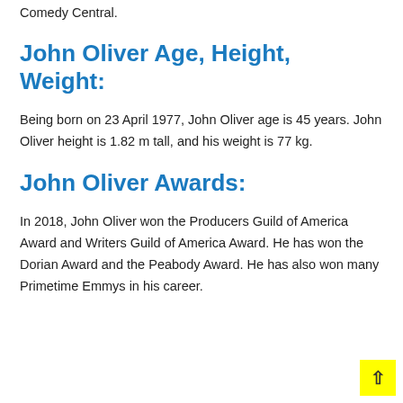Comedy Central.
John Oliver Age, Height, Weight:
Being born on 23 April 1977, John Oliver age is 45 years. John Oliver height is 1.82 m tall, and his weight is 77 kg.
John Oliver Awards:
In 2018, John Oliver won the Producers Guild of America Award and Writers Guild of America Award. He has won the Dorian Award and the Peabody Award. He has also won many Primetime Emmys in his career.